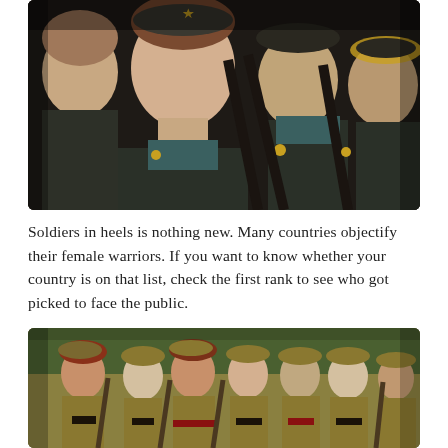[Figure (photo): Female soldiers in dark military uniforms holding rifles, standing in formation. The soldiers wear military caps and teal/green collared shirts under dark jackets with gold star insignia on epaulettes.]
Soldiers in heels is nothing new. Many countries objectify their female warriors. If you want to know whether your country is on that list, check the first rank to see who got picked to face the public.
[Figure (photo): Group of female soldiers in khaki/olive World War II style uniforms with berets and garrison caps, standing outdoors with rifles, red belts visible.]